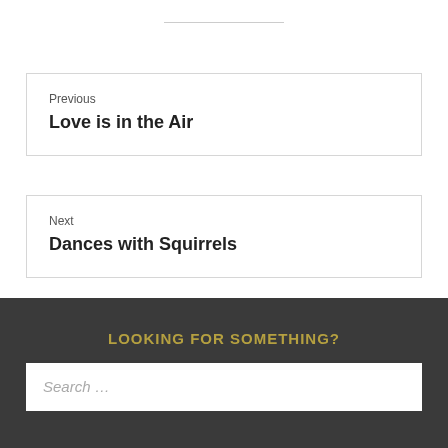Previous
Love is in the Air
Next
Dances with Squirrels
LOOKING FOR SOMETHING?
Search …